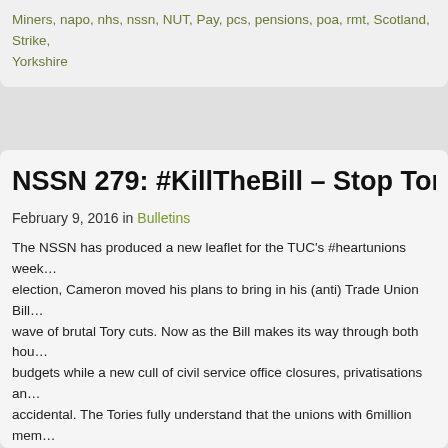Miners, napo, nhs, nssn, NUT, Pay, pcs, pensions, poa, rmt, Scotland, Strike, Yorkshire
NSSN 279: #KillTheBill – Stop Tory C…
February 9, 2016 in Bulletins
The NSSN has produced a new leaflet for the TUC's #heartunions week… election, Cameron moved his plans to bring in his (anti) Trade Union Bill… wave of brutal Tory cuts. Now as the Bill makes its way through both hou… budgets while a new cull of civil service office closures, privatisations an… accidental. The Tories fully understand that the unions with 6million mem…
Tags: #heartunions, #KillTheBill, 24 General strike, Affiliate, Appeal, austerity, … Rights, fbu, general strike, GMB, housing, Ian kerr, John McDonnell MP, librar… Pay, pensions, poa, rmt, Scotland, Strike, terms and conditions, TUC, tupe, UC…